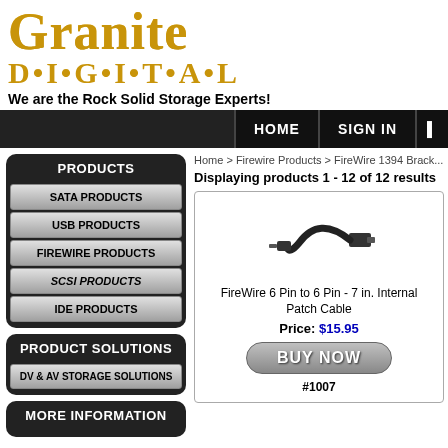[Figure (logo): Granite Digital logo with large serif text 'Granite' and stylized 'D·I·G·I·T·A·L' in gold/yellow]
We are the Rock Solid Storage Experts!
HOME  SIGN IN
Home > Firewire Products > FireWire 1394 Brack...
Displaying products 1 - 12 of 12 results
PRODUCTS
SATA PRODUCTS
USB PRODUCTS
FIREWIRE PRODUCTS
SCSI PRODUCTS
IDE PRODUCTS
PRODUCT SOLUTIONS
DV & AV STORAGE SOLUTIONS
MORE INFORMATION
[Figure (photo): FireWire internal patch cable - black cable with connector]
FireWire 6 Pin to 6 Pin - 7 in. Internal Patch Cable
Price: $15.95
BUY NOW
#1007